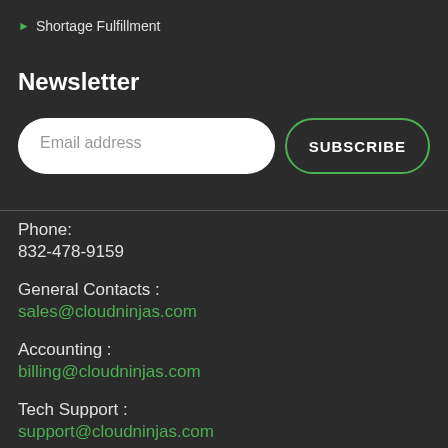Shortage Fulfillment
Newsletter
Email address
SUBSCRIBE
Phone:
832-478-9159
General Contacts :
sales@cloudninjas.com
Accounting :
billing@cloudninjas.com
Tech Support :
support@cloudninjas.com